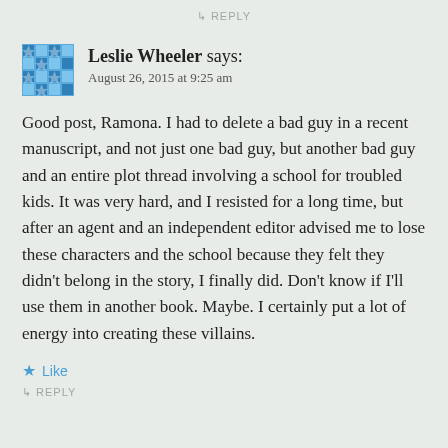↵ REPLY
Leslie Wheeler says:
August 26, 2015 at 9:25 am
Good post, Ramona. I had to delete a bad guy in a recent manuscript, and not just one bad guy, but another bad guy and an entire plot thread involving a school for troubled kids. It was very hard, and I resisted for a long time, but after an agent and an independent editor advised me to lose these characters and the school because they felt they didn't belong in the story, I finally did. Don't know if I'll use them in another book. Maybe. I certainly put a lot of energy into creating these villains.
★ Like
↵ REPLY